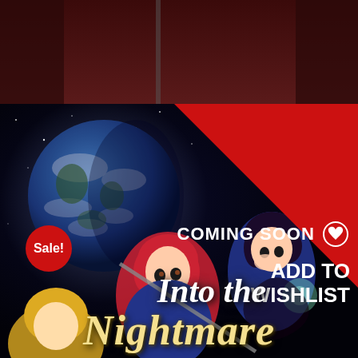[Figure (illustration): Top portion showing a dark purple/maroon background with anime-style illustration elements, part of a larger game promotional image]
[Figure (illustration): Game promotional image for 'Into the Nightmare' featuring two anime-style female characters - one with red hair in foreground wielding a weapon, one with dark hair in background - set against a space background with a large Earth/planet visible. Red diagonal banner in top-right corner with 'Coming Soon' and 'Add to Wishlist' text. Red circular 'Sale!' badge on left side. Game title 'Into the Nightmare' displayed at the bottom in stylized gold/white italic font.]
Sale!
Coming soon
ADD TO WISHLIST
Into the Nightmare